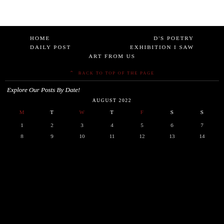HOME
D'S POETRY
DAILY POST
EXHIBITION I SAW
ART FROM US
^ BACK TO TOP OF THE PAGE
Explore Our Posts By Date!
| M | T | W | T | F | S | S |
| --- | --- | --- | --- | --- | --- | --- |
| 1 | 2 | 3 | 4 | 5 | 6 | 7 |